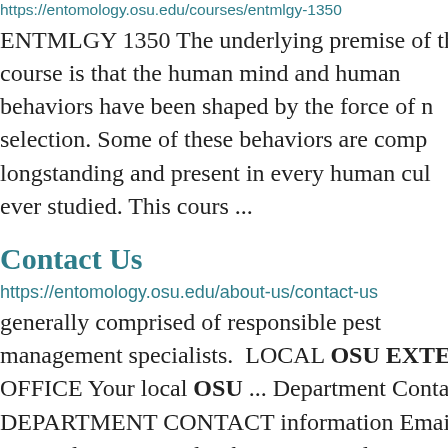https://entomology.osu.edu/courses/entmlgy-1350
ENTMLGY 1350 The underlying premise of the course is that the human mind and human behaviors have been shaped by the force of natural selection. Some of these behaviors are complex, longstanding and present in every human culture ever studied. This cours ...
Contact Us
https://entomology.osu.edu/about-us/contact-us
generally comprised of responsible pest management specialists.  LOCAL OSU EXTENSION OFFICE Your local OSU ... Department Contact DEPARTMENT CONTACT information Email: entomology@osu.edu Phone:  ... Graduate ...